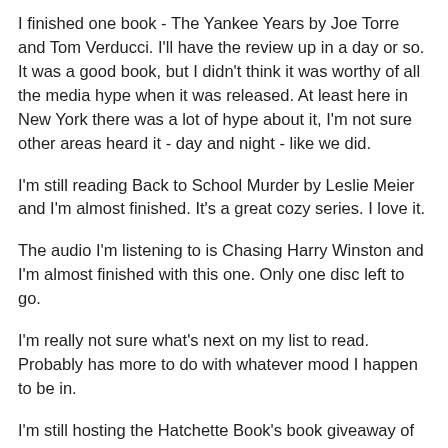I finished one book - The Yankee Years by Joe Torre and Tom Verducci. I'll have the review up in a day or so. It was a good book, but I didn't think it was worthy of all the media hype when it was released. At least here in New York there was a lot of hype about it, I'm not sure other areas heard it - day and night - like we did.
I'm still reading Back to School Murder by Leslie Meier and I'm almost finished. It's a great cozy series. I love it.
The audio I'm listening to is Chasing Harry Winston and I'm almost finished with this one. Only one disc left to go.
I'm really not sure what's next on my list to read. Probably has more to do with whatever mood I happen to be in.
I'm still hosting the Hatchette Book's book giveaway of The Italian Lover by Robert Hellenga. I have the book to review and it looks like a good one. I have 5 copies of this book to giveaway and there is still time to enter the contest, which ends on February 20th. So stop by and enter for your chance to win